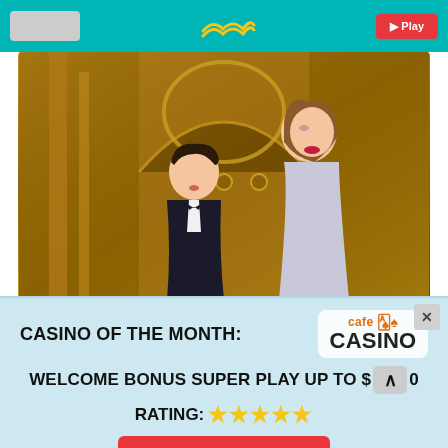Casino website header with teal background, logo placeholder, and red button
[Figure (photo): Two elegantly dressed people (man and woman) standing in front of ornate golden casino interior with arched decorative woodwork]
CASINO OF THE MONTH:
[Figure (logo): Cafe Casino logo with orange 'cafe' text, playing card suits icon, and bold 'CASINO' text on white/light background]
WELCOME BONUS SUPER PLAY UP TO $[amount]0
RATING: ★★★★★
Get Bonus